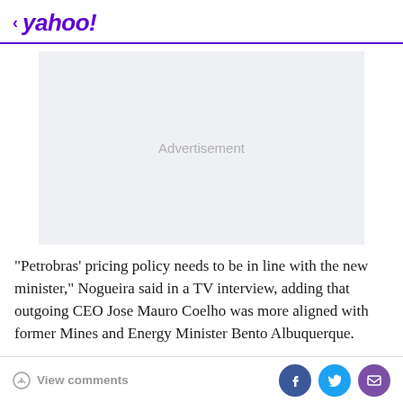< yahoo!
[Figure (other): Advertisement placeholder box with light gray background and 'Advertisement' text centered]
"Petrobras' pricing policy needs to be in line with the new minister," Nogueira said in a TV interview, adding that outgoing CEO Jose Mauro Coelho was more aligned with former Mines and Energy Minister Bento Albuquerque.
View comments | Facebook share | Twitter share | Email share